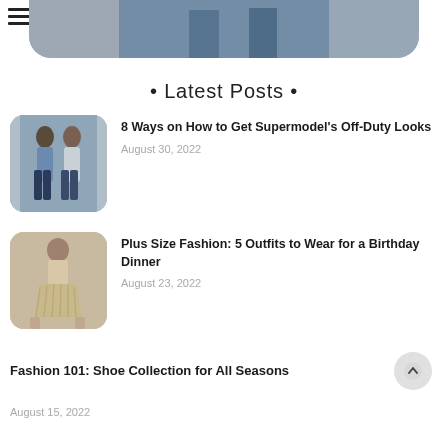[Figure (photo): Hero banner image strip showing fashion/street style photography at the top of the page]
• Latest Posts •
[Figure (photo): Thumbnail photo of two women in street style outfits, jeans and casual wear]
8 Ways on How to Get Supermodel's Off-Duty Looks
August 30, 2022
[Figure (photo): Thumbnail photo of a woman in a beige/tan fringe skirt outfit]
Plus Size Fashion: 5 Outfits to Wear for a Birthday Dinner
August 23, 2022
Fashion 101: Shoe Collection for All Seasons
August 15, 2022